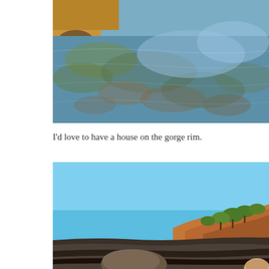[Figure (photo): Overhead view of a clear gorge water pool with rocks visible through the water surface and reflections of sky and vegetation. Warm golden and blue tones.]
I'd love to have a house on the gorge rim.
[Figure (photo): Outdoor scene at a gorge rim showing flat sandstone rocks in the foreground, a tree line along red/orange cliff edges, and a bright blue sky. A person's head is partially visible at the bottom right.]